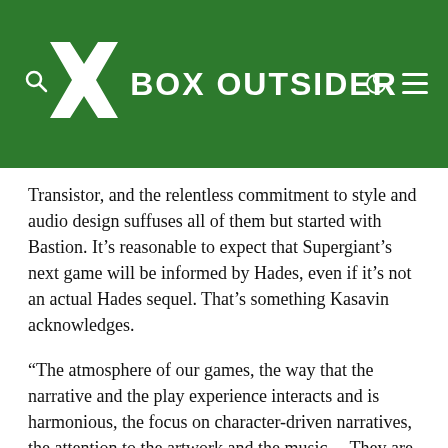X BOX OUTSIDER
Transistor, and the relentless commitment to style and audio design suffuses all of them but started with Bastion. It’s reasonable to expect that Supergiant’s next game will be informed by Hades, even if it’s not an actual Hades sequel. That’s something Kasavin acknowledges.
“The atmosphere of our games, the way that the narrative and the play experience interacts and is harmonious, the focus on character-driven narratives, the attention to the artwork and the music… They are things that will remain. The way we let you play how you desire to play, without shoe-horning you into one style… Those are all things that we’ve cared about in every one of our projects and, I imagine, we’ll